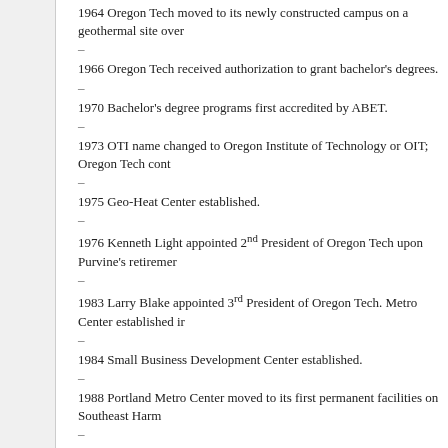1964 Oregon Tech moved to its newly constructed campus on a geothermal site over…
1966 Oregon Tech received authorization to grant bachelor's degrees.
1970 Bachelor's degree programs first accredited by ABET.
1973 OTI name changed to Oregon Institute of Technology or OIT; Oregon Tech cont…
1975 Geo-Heat Center established.
1976 Kenneth Light appointed 2nd President of Oregon Tech upon Purvine's retirement…
1983 Larry Blake appointed 3rd President of Oregon Tech. Metro Center established in…
1984 Small Business Development Center established.
1988 Portland Metro Center moved to its first permanent facilities on Southeast Harm…
1989 State Board of Higher Education authorized Oregon Tech to grant master's degre…
1991 Lawrence J. Wolf appointed 4th President of Oregon Tech.
1995 First Master's degree offered.